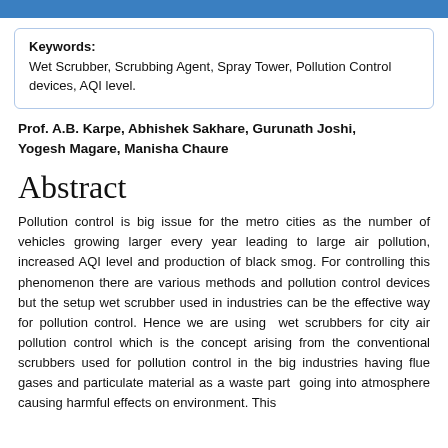Keywords: Wet Scrubber, Scrubbing Agent, Spray Tower, Pollution Control devices, AQI level.
Prof. A.B. Karpe, Abhishek Sakhare, Gurunath Joshi, Yogesh Magare, Manisha Chaure
Abstract
Pollution control is big issue for the metro cities as the number of vehicles growing larger every year leading to large air pollution, increased AQI level and production of black smog. For controlling this phenomenon there are various methods and pollution control devices but the setup wet scrubber used in industries can be the effective way for pollution control. Hence we are using  wet scrubbers for city air pollution control which is the concept arising from the conventional scrubbers used for pollution control in the big industries having flue gases and particulate material as a waste part  going into atmosphere causing harmful effects on environment. This